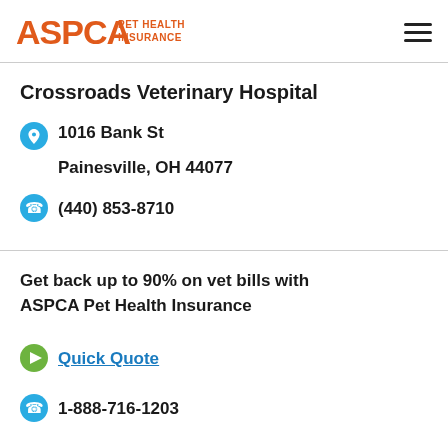ASPCA PET HEALTH INSURANCE
Crossroads Veterinary Hospital
1016 Bank St
Painesville, OH 44077
(440) 853-8710
Get back up to 90% on vet bills with ASPCA Pet Health Insurance
Quick Quote
1-888-716-1203